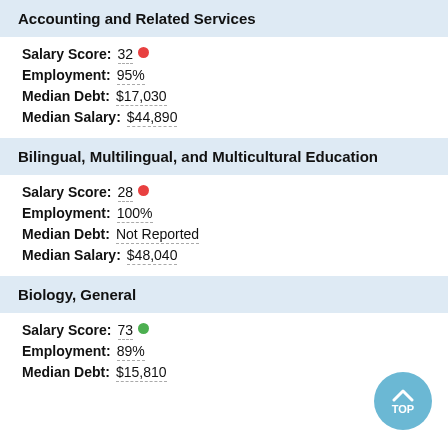Accounting and Related Services
Salary Score: 32
Employment: 95%
Median Debt: $17,030
Median Salary: $44,890
Bilingual, Multilingual, and Multicultural Education
Salary Score: 28
Employment: 100%
Median Debt: Not Reported
Median Salary: $48,040
Biology, General
Salary Score: 73
Employment: 89%
Median Debt: $15,810